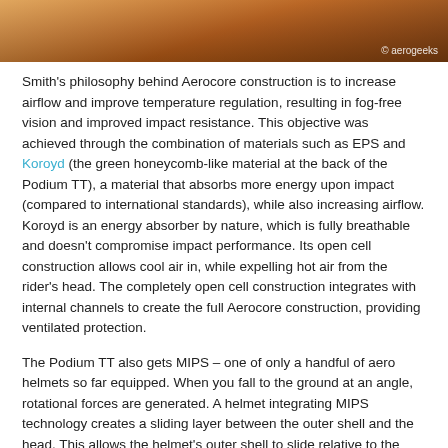[Figure (photo): Partial photo of a cycling helmet (orange/brown tones), cropped at top of page. Watermark '© aerogeeks' visible in lower right corner.]
Smith's philosophy behind Aerocore construction is to increase airflow and improve temperature regulation, resulting in fog-free vision and improved impact resistance. This objective was achieved through the combination of materials such as EPS and Koroyd (the green honeycomb-like material at the back of the Podium TT), a material that absorbs more energy upon impact (compared to international standards), while also increasing airflow. Koroyd is an energy absorber by nature, which is fully breathable and doesn't compromise impact performance. Its open cell construction allows cool air in, while expelling hot air from the rider's head. The completely open cell construction integrates with internal channels to create the full Aerocore construction, providing ventilated protection.
The Podium TT also gets MIPS – one of only a handful of aero helmets so far equipped. When you fall to the ground at an angle, rotational forces are generated. A helmet integrating MIPS technology creates a sliding layer between the outer shell and the head. This allows the helmet's outer shell to slide relative to the head when hitting the ground, decreasing the rotational force and reducing the potential to damage your brain. (Because yes, helmets are actually intended to protect your head above all else, not make you faster).